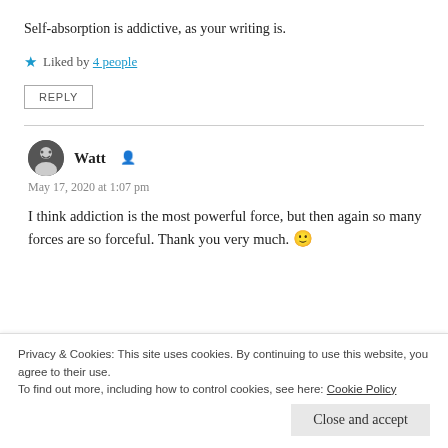Self-absorption is addictive, as your writing is.
★ Liked by 4 people
REPLY
Watt
May 17, 2020 at 1:07 pm
I think addiction is the most powerful force, but then again so many forces are so forceful. Thank you very much. 🙂
Privacy & Cookies: This site uses cookies. By continuing to use this website, you agree to their use.
To find out more, including how to control cookies, see here: Cookie Policy
Close and accept